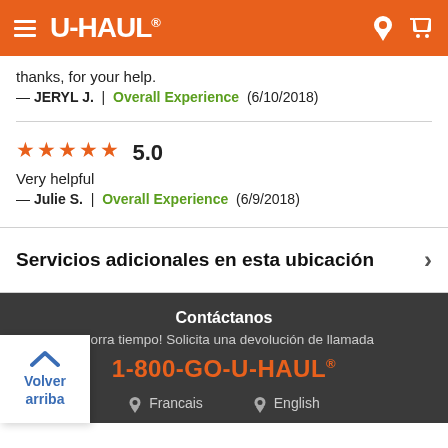U-HAUL
thanks, for your help.
— JERYL J. | Overall Experience (6/10/2018)
5.0
Very helpful
— Julie S. | Overall Experience (6/9/2018)
Servicios adicionales en esta ubicación
Contáctanos
Ahorra tiempo! Solicita una devolución de llamada
1-800-GO-U-HAUL®
Francais  English